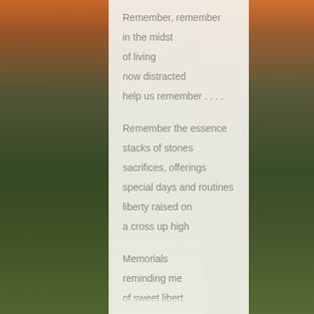[Figure (photo): Soft-focus outdoor background with warm bokeh orange/golden tones in upper corners and green grassy field with dandelions in lower portion, flanking a light translucent white card panel in the center.]
Remember, remember
in the midst
of living
now distracted
help us remember . . . .

Remember the essence
stacks of stones
sacrifices, offerings
special days and routines
liberty raised on
a cross up high

Memorials
reminding me
of sweet libert
Remember, remember
in the midst
of living
now distracted
help us remember . . . .
Remember the essence
stacks of stones
sacrifices, offerings
special days and routines
liberty raised on
a cross up high
Memorials
reminding me
of sweet libert